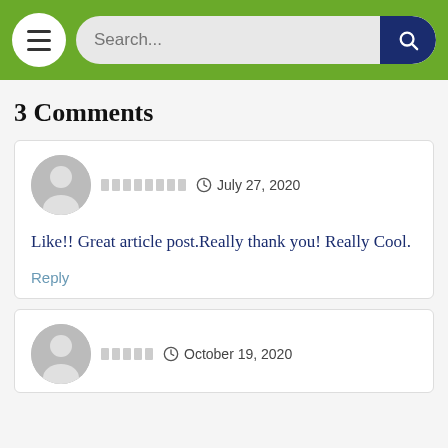Search...
3 Comments
Like!! Great article post.Really thank you! Really Cool.
Reply
October 19, 2020